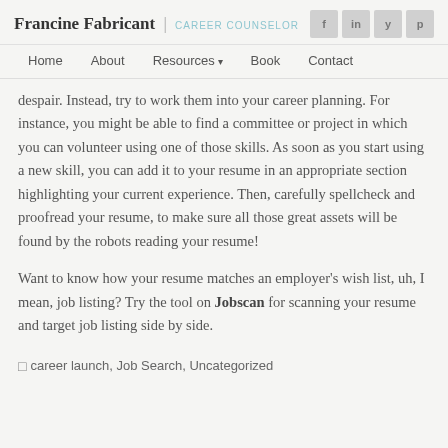Francine Fabricant | CAREER COUNSELOR
Home  About  Resources  Book  Contact
despair. Instead, try to work them into your career planning. For instance, you might be able to find a committee or project in which you can volunteer using one of those skills. As soon as you start using a new skill, you can add it to your resume in an appropriate section highlighting your current experience. Then, carefully spellcheck and proofread your resume, to make sure all those great assets will be found by the robots reading your resume!
Want to know how your resume matches an employer's wish list, uh, I mean, job listing? Try the tool on Jobscan for scanning your resume and target job listing side by side.
career launch, Job Search, Uncategorized